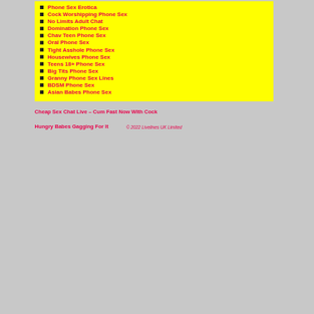Phone Sex Erotica
Cock Worshipping Phone Sex
No Limits Adult Chat
Domination Phone Sex
Chav Teen Phone Sex
Oral Phone Sex
Tight Asshole Phone Sex
Housewives Phone Sex
Teens 18+ Phone Sex
Big Tits Phone Sex
Granny Phone Sex Lines
BDSM Phone Sex
Asian Babes Phone Sex
Cheap Sex Chat Live – Cum Fast Now WIth Cock Hungry Babes Gagging For It
© 2022 Livelines UK Limited